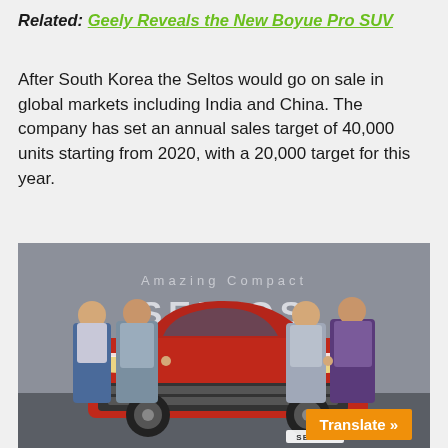Related: Geely Reveals the New Boyue Pro SUV
After South Korea the Seltos would go on sale in global markets including India and China. The company has set an annual sales target of 40,000 units starting from 2020, with a 20,000 target for this year.
[Figure (photo): Four people posing in front of a red Kia Seltos SUV at a launch event. Background reads 'Amazing Compact SELTOS'. A 'SELTOS' badge is visible on the car.]